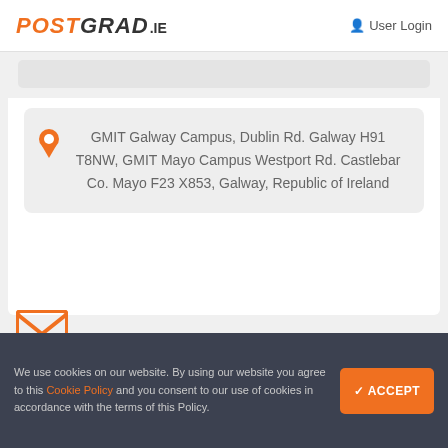POSTGRAD.ie  User Login
GMIT Galway Campus, Dublin Rd. Galway H91 T8NW, GMIT Mayo Campus Westport Rd. Castlebar Co. Mayo F23 X853, Galway, Republic of Ireland
[Figure (other): Orange envelope/mail icon]
We use cookies on our website. By using our website you agree to this Cookie Policy and you consent to our use of cookies in accordance with the terms of this Policy.